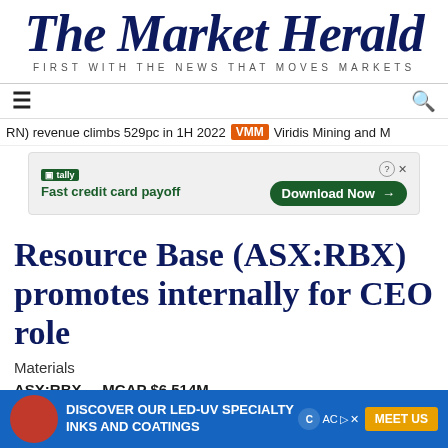The Market Herald — FIRST WITH THE NEWS THAT MOVES MARKETS
RN) revenue climbs 529pc in 1H 2022  VMM  Viridis Mining and M
[Figure (other): Tally advertisement banner: Fast credit card payoff, Download Now button]
Resource Base (ASX:RBX) promotes internally for CEO role
Materials
ASX:RBX    MCAP $6.514M
[Figure (other): DISCOVER OUR LED-UV SPECIALTY INKS AND COATINGS advertisement banner with MEET US button]